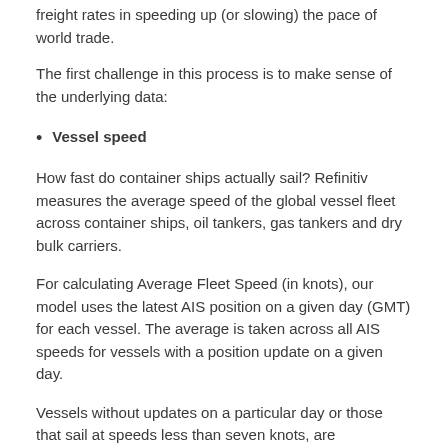freight rates in speeding up (or slowing) the pace of world trade.
The first challenge in this process is to make sense of the underlying data:
Vessel speed
How fast do container ships actually sail? Refinitiv measures the average speed of the global vessel fleet across container ships, oil tankers, gas tankers and dry bulk carriers.
For calculating Average Fleet Speed (in knots), our model uses the latest AIS position on a given day (GMT) for each vessel. The average is taken across all AIS speeds for vessels with a position update on a given day.
Vessels without updates on a particular day or those that sail at speeds less than seven knots, are maneuvering near ports, or above 23 knots, are removed.
Freight rates